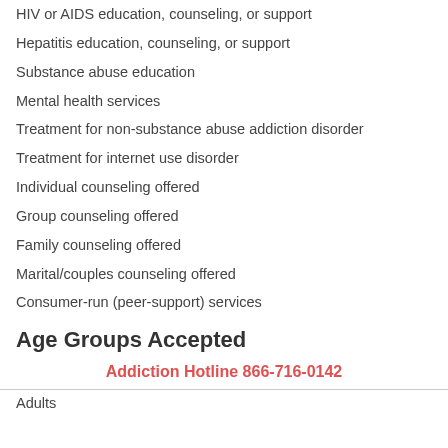HIV or AIDS education, counseling, or support
Hepatitis education, counseling, or support
Substance abuse education
Mental health services
Treatment for non-substance abuse addiction disorder
Treatment for internet use disorder
Individual counseling offered
Group counseling offered
Family counseling offered
Marital/couples counseling offered
Consumer-run (peer-support) services
Age Groups Accepted
Addiction Hotline 866-716-0142
Adults